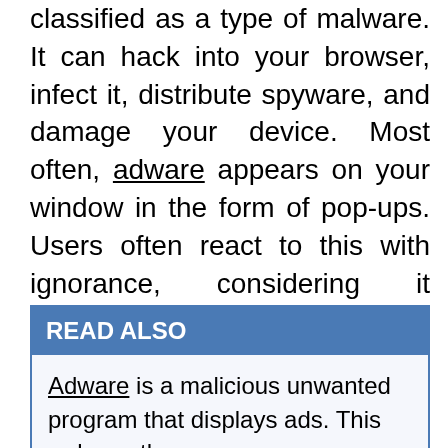classified as a type of malware. It can hack into your browser, infect it, distribute spyware, and damage your device. Most often, adware appears on your window in the form of pop-ups. Users often react to this with ignorance, considering it harmless advertising. But this advertisement often hides links to various infected sites that aim to infect your computer.
READ ALSO
Adware is a malicious unwanted program that displays ads. This reduces the